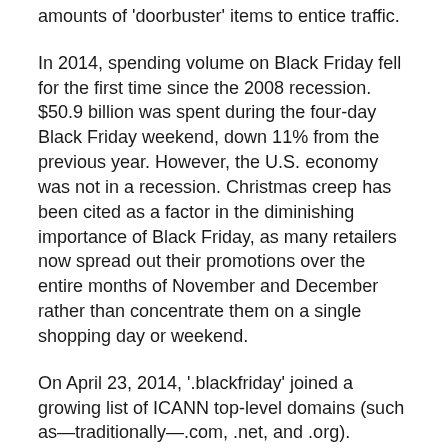amounts of 'doorbuster' items to entice traffic.
In 2014, spending volume on Black Friday fell for the first time since the 2008 recession. $50.9 billion was spent during the four-day Black Friday weekend, down 11% from the previous year. However, the U.S. economy was not in a recession. Christmas creep has been cited as a factor in the diminishing importance of Black Friday, as many retailers now spread out their promotions over the entire months of November and December rather than concentrate them on a single shopping day or weekend.
On April 23, 2014, '.blackfriday' joined a growing list of ICANN top-level domains (such as—traditionally—.com, .net, and .org).
In 2015, Neil Stern of McMillan Doolittle said, 'Black Friday is quickly losing its meaning on all fronts,' because many stores opened on Thanksgiving, and a lot of sales started even earlier than that. Online shopping also made the day less important. A Gallup poll in 2012 has shown that only 18% of American adults approve of Black Friday, which is significantly